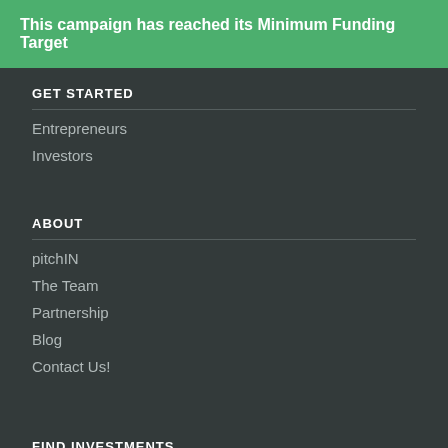This campaign has reached its Minimum Funding Target
GET STARTED
Entrepreneurs
Investors
ABOUT
pitchIN
The Team
Partnership
Blog
Contact Us!
FIND INVESTMENTS